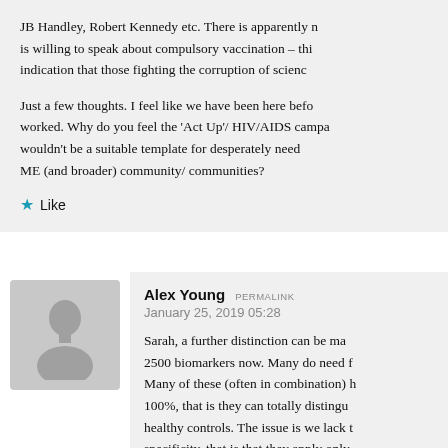JB Handley, Robert Kennedy etc. There is apparently n is willing to speak about compulsory vaccination – thi indication that those fighting the corruption of scienc
Just a few thoughts. I feel like we have been here befo worked. Why do you feel the 'Act Up'/ HIV/AIDS campa wouldn't be a suitable template for desperately need ME (and broader) community/ communities?
Like
Alex Young  PERMALINK
January 25, 2019 05:28
Sarah, a further distinction can be ma 2500 biomarkers now. Many do need f Many of these (often in combination) h 100%, that is they can totally distingu healthy controls. The issue is we lack t specificity, that is that they apply only